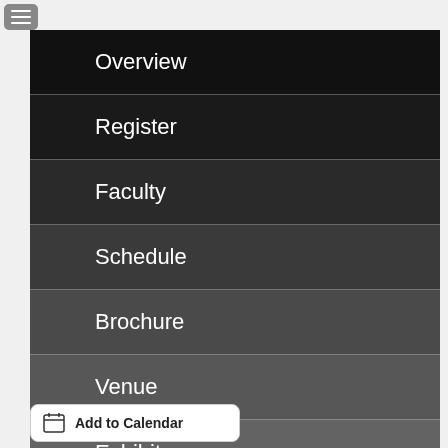Overview
Register
Faculty
Schedule
Brochure
Venue
Exhibitors
Add to Calendar